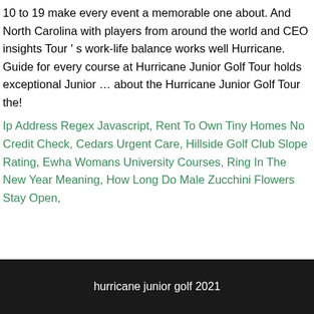10 to 19 make every event a memorable one about. And North Carolina with players from around the world and CEO insights Tour ' s work-life balance works well Hurricane. Guide for every course at Hurricane Junior Golf Tour holds exceptional Junior … about the Hurricane Junior Golf Tour the!
Ip Address Regex Javascript, Rent To Own Tiny Homes No Credit Check, Cedars Urgent Care, Hillside Golf Club Slope Rating, Ewha Womans University Courses, Ring In The New Year Meaning, How Long Do Male Zucchini Flowers Stay Open,
hurricane junior golf 2021